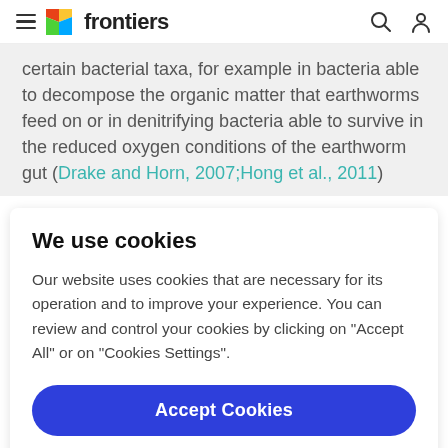frontiers
certain bacterial taxa, for example in bacteria able to decompose the organic matter that earthworms feed on or in denitrifying bacteria able to survive in the reduced oxygen conditions of the earthworm gut (Drake and Horn, 2007; Hong et al., 2011)
We use cookies
Our website uses cookies that are necessary for its operation and to improve your experience. You can review and control your cookies by clicking on "Accept All" or on "Cookies Settings".
Accept Cookies
Cookies Settings